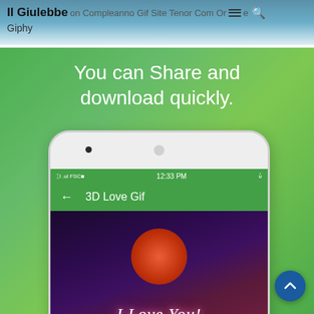Il Giulebbe on Compleanno Gif Site Tenor Com Or≡e Q Giphy
[Figure (screenshot): Mobile app screenshot on green gradient background. Large white text reads 'You can Share and download quickly.' with a phone mockup showing a green status bar reading '12:33 PM', an app bar titled '3D Love Gif' with a back arrow, and a dark romantic 'I Love You!' GIF preview with a red moon. A dark blue scroll-to-top circular button is in the bottom right.]